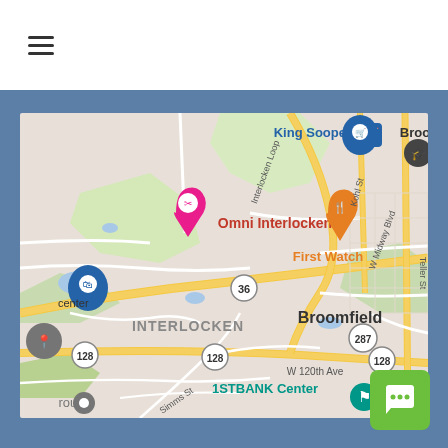[Figure (other): Hamburger menu icon (three horizontal lines) in the top-left of a white header bar]
[Figure (map): Google Maps screenshot showing the Interlocken area of Broomfield, Colorado. Visible labels include: King Soopers, Omni Interlocken, First Watch, INTERLOCKEN, Broomfield, 1STBANK Center, W Midway Blvd, W 120th Ave, Interlocken Loop, Simms St, Kohl St, Teller St, route markers 36, 128, 287. Map pins for King Soopers (blue shopping cart), Omni Interlocken (pink/magenta), First Watch (orange fork/spoon), 1STBANK Center (teal), and other grey pins.]
[Figure (other): Green rounded-square chat/messaging button with three dots speech bubble icon, positioned in the bottom-right corner over the blue background]